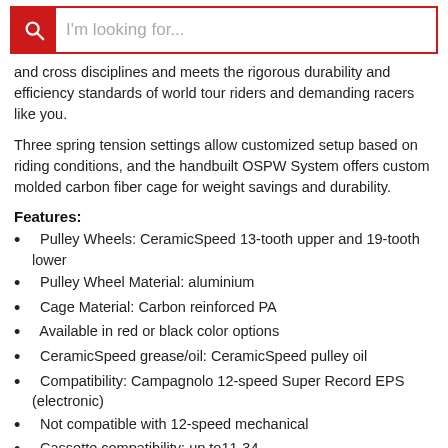I'm looking for...
and cross disciplines and meets the rigorous durability and efficiency standards of world tour riders and demanding racers like you.
Three spring tension settings allow customized setup based on riding conditions, and the handbuilt OSPW System offers custom molded carbon fiber cage for weight savings and durability.
Features:
Pulley Wheels: CeramicSpeed 13-tooth upper and 19-tooth lower
Pulley Wheel Material: aluminium
Cage Material: Carbon reinforced PA
Available in red or black color options
CeramicSpeed grease/oil: CeramicSpeed pulley oil
Compatibility: Campagnolo 12-speed Super Record EPS (electronic)
Not compatible with 12-speed mechanical
Cassette compatibility: up to11-34
Spring tension settings: 3 spring tension settings
Speed: 12-speed